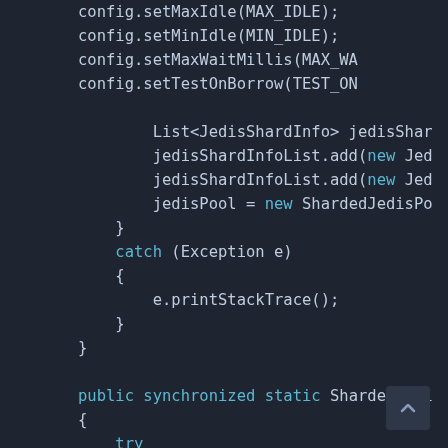[Figure (screenshot): Dark-themed code editor screenshot showing Java code with syntax highlighting. Keywords like 'catch', 'new', 'public', 'synchronized', 'static', 'try', 'if', 'return', 'else' are highlighted in blue/teal. Code includes config setup, JedisShardInfo list operations, catch block with e.printStackTrace(), and a public synchronized static method with try/if/else block.]